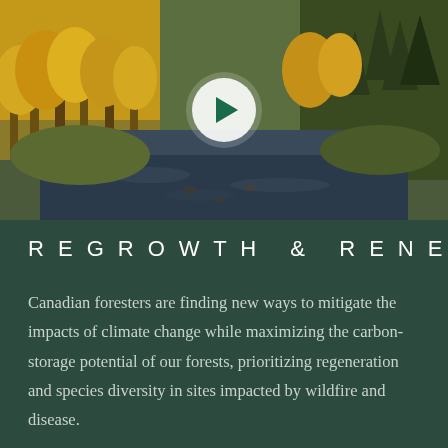[Figure (photo): Aerial/landscape photograph of an autumn forest scene with a river running through it. Trees display golden yellow and orange fall foliage. A circular white play button with a green triangle is overlaid in the center of the image.]
REGROWTH & RENEWAL
Canadian foresters are finding new ways to mitigate the impacts of climate change while maximizing the carbon-storage potential of our forests, prioritizing regeneration and species diversity in sites impacted by wildfire and disease.